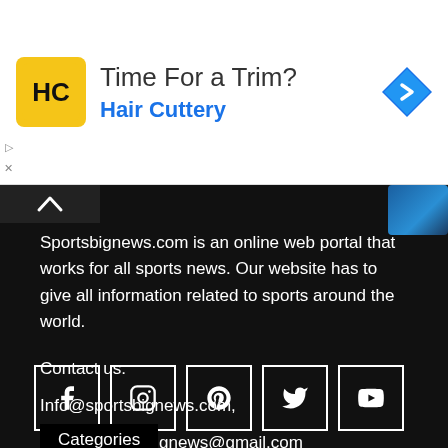[Figure (infographic): Advertisement banner: HC Hair Cuttery logo with 'Time For a Trim?' heading, blue navigation arrow icon on right]
Sportsbignews.com is an online web portal that works for all sports news. Our website has to give all information related to sports around the world.
Contact us:
Info@sportsbignews.com,
contact.sportsbignews@gmail.com
[Figure (infographic): Row of 5 social media icon buttons (Facebook, Instagram, Pinterest, Twitter, YouTube) with white borders on dark background]
Categories